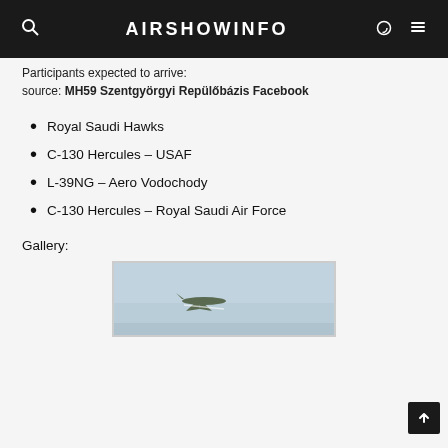AIRSHOWINFO
Participants expected to arrive:
source: MH59 Szentgyörgyi Repülőbázis Facebook
Royal Saudi Hawks
C-130 Hercules – USAF
L-39NG – Aero Vodochody
C-130 Hercules – Royal Saudi Air Force
Gallery:
[Figure (photo): Aircraft flying in hazy sky, airshow photo]